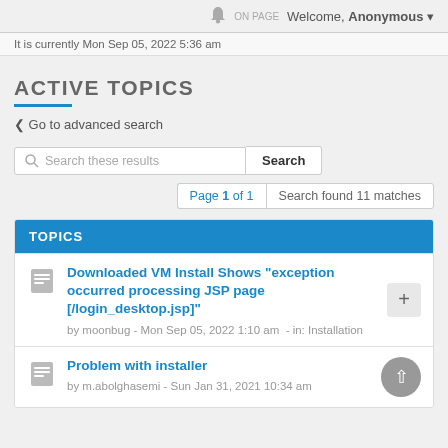Welcome, Anonymous
It is currently Mon Sep 05, 2022 5:36 am
ACTIVE TOPICS
< Go to advanced search
Search these results  Search
Page 1 of 1   Search found 11 matches
TOPICS
Downloaded VM Install Shows "exception occurred processing JSP page [/login_desktop.jsp]" by moonbug - Mon Sep 05, 2022 1:10 am - in: Installation
Problem with installer by m.abolghasemi - Sun Jan 31, 2021 10:34 am